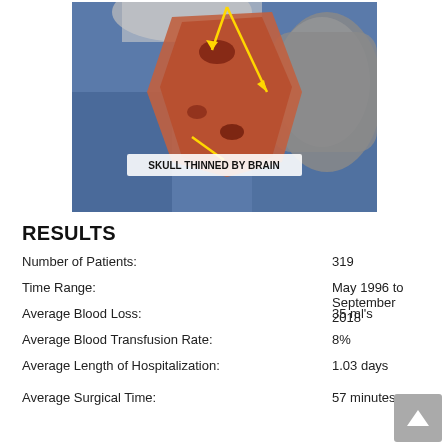[Figure (photo): A gloved hand holding a piece of bone/skull tissue with yellow arrows pointing to areas labeled 'SKULL THINNED BY BRAIN'. The tissue appears reddish-brown against a blue background.]
SKULL THINNED BY BRAIN
RESULTS
Number of Patients: 319
Time Range: May 1996 to September 2018
Average Blood Loss: 35 ml's
Average Blood Transfusion Rate: 8%
Average Length of Hospitalization: 1.03 days
Average Surgical Time: 57 minutes